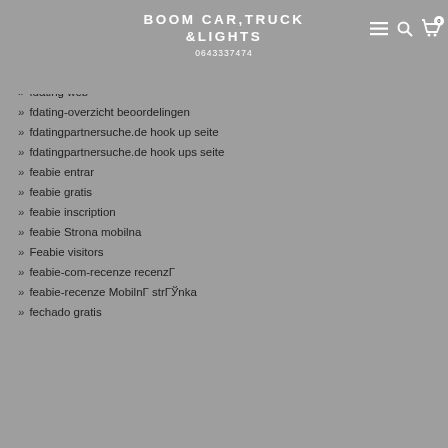BOOM CAR,TRUCK &LIGHTS 0643337474
FDating review
FDating reviews
fdating visitors
fdating web
fdating-overzicht beoordelingen
fdatingpartnersuche.de hook up seite
fdatingpartnersuche.de hook ups seite
feabie entrar
feabie gratis
feabie inscription
feabie Strona mobilna
Feabie visitors
feabie-com-recenze recenzГ
feabie-recenze MobilnГ strГЎnka
fechado gratis